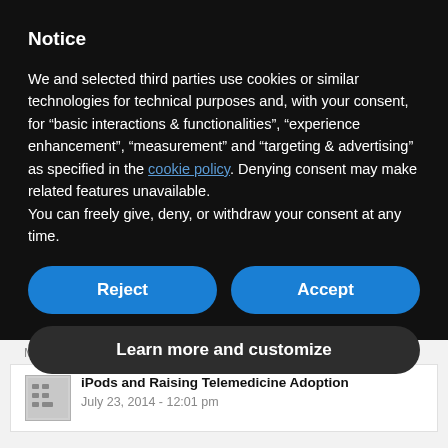Notice
We and selected third parties use cookies or similar technologies for technical purposes and, with your consent, for “basic interactions & functionalities”, “experience enhancement”, “measurement” and “targeting & advertising” as specified in the cookie policy. Denying consent may make related features unavailable.
You can freely give, deny, or withdraw your consent at any time.
Reject
Accept
Learn more and customize
March 6, 2020 - 1:29 pm
iPods and Raising Telemedicine Adoption
July 23, 2014 - 12:01 pm